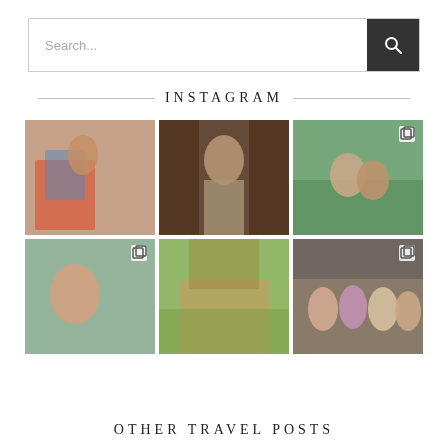Search...
INSTAGRAM
[Figure (photo): Instagram photo grid with 6 photos: woman with child on toy car, woman in grey dress at bar, Indian couple in traditional wedding attire, woman with baby, exterior of building with garden, group of women at gathering]
OTHER TRAVEL POSTS